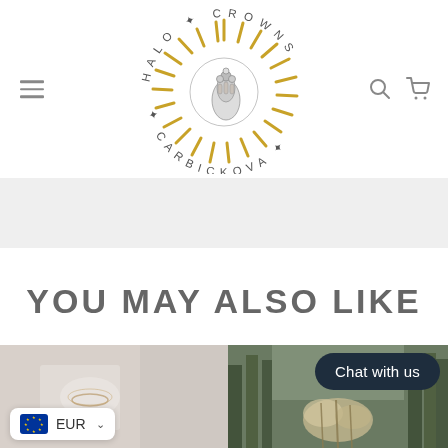[Figure (logo): Halo Crowns Carbickova circular sun logo with decorative text and floral hand illustration]
YOU MAY ALSO LIKE
[Figure (photo): Product photo 1 - jewelry on neutral background with EUR currency selector badge]
[Figure (photo): Product photo 2 - outdoor forest scene with dried botanicals and Chat with us button]